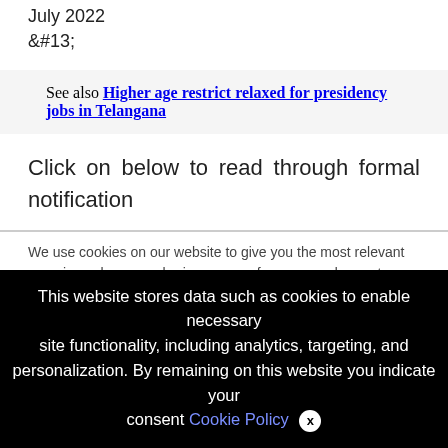July 2022
&#13;
See also  Higher age restrict relaxed for presidency jobs in Telangana
Click on below to read through formal notification
We use cookies on our website to give you the most relevant experience by remembering your preferences and repeat visits. By clicking “Accept All”, you consent to the use of ALL the controlled consent.
This website stores data such as cookies to enable necessary site functionality, including analytics, targeting, and personalization. By remaining on this website you indicate your consent Cookie Policy ×